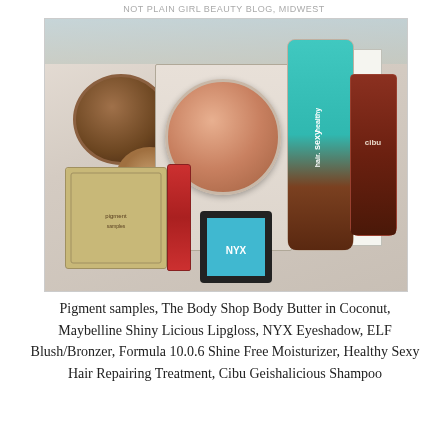NOT PLAIN GIRL BEAUTY BLOG, MIDWEST
[Figure (photo): Flat lay of beauty products on a wooden surface: pigment samples packet, The Body Shop Body Butter in Coconut (brown circular tin), Maybelline Shiny Licious Lipgloss (red tube), NYX Eyeshadow (blue square compact), ELF Blush/Bronzer (pink compact in packaging), Formula 10.0.6 Shine Free Moisturizer (white box), Healthy Sexy Hair Repairing Treatment (teal and brown tube), Cibu Geishalicious Shampoo (dark red bottle)]
Pigment samples, The Body Shop Body Butter in Coconut, Maybelline Shiny Licious Lipgloss, NYX Eyeshadow, ELF Blush/Bronzer, Formula 10.0.6 Shine Free Moisturizer, Healthy Sexy Hair Repairing Treatment, Cibu Geishalicious Shampoo